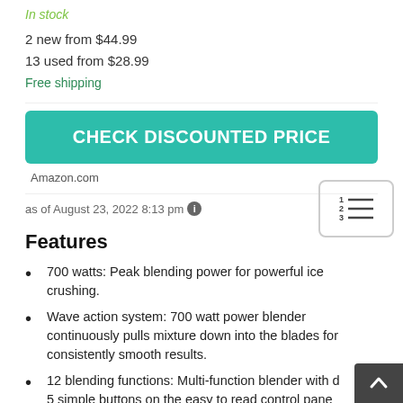In stock
2 new from $44.99
13 used from $28.99
Free shipping
CHECK DISCOUNTED PRICE
Amazon.com
as of August 23, 2022 8:13 pm
[Figure (other): Table of contents / numbered list icon inside rounded rectangle border]
Features
700 watts: Peak blending power for powerful ice crushing.
Wave action system: 700 watt power blender continuously pulls mixture down into the blades for consistently smooth results.
12 blending functions: Multi-function blender with d... 5 simple buttons on the easy to read control panel